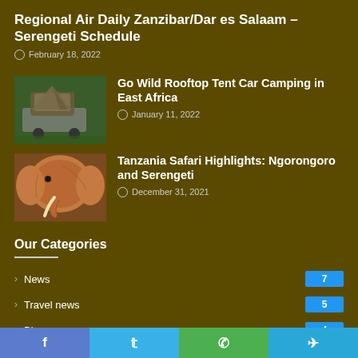Regional Air Daily Zanzibar/Dar es Salaam – Serengeti Schedule
February 18, 2022
[Figure (photo): Car with rooftop tent in green outdoor area]
Go Wild Rooftop Tent Car Camping in East Africa
January 11, 2022
[Figure (photo): Close-up of elephant head]
Tanzania Safari Highlights: Ngorongoro and Serengeti
December 31, 2021
Our Categories
News  7
Travel news  5
Blog  4